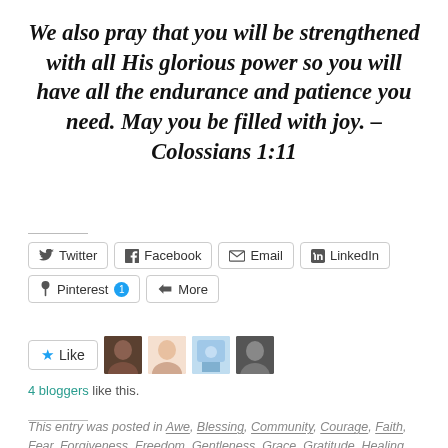We also pray that you will be strengthened with all His glorious power so you will have all the endurance and patience you need. May you be filled with joy. – Colossians 1:11
[Figure (screenshot): Social share buttons: Twitter, Facebook, Email, LinkedIn, Pinterest (with badge 1), More]
[Figure (screenshot): Like button with star icon, followed by four blogger avatar thumbnails]
4 bloggers like this.
This entry was posted in Awe, Blessing, Community, Courage, Faith, Fear, Forgiveness, Freedom, Gentleness, Grace, Gratitude, Healing, Hope, Kindness, Love, New